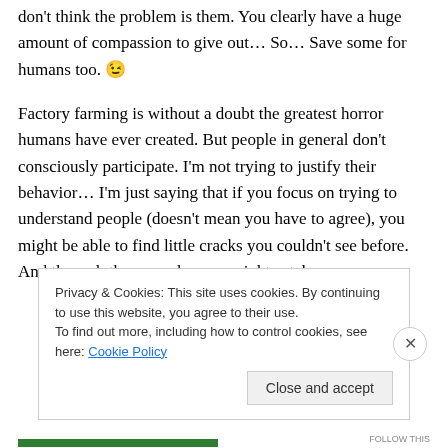don't think the problem is them. You clearly have a huge amount of compassion to give out… So… Save some for humans too. 😉
Factory farming is without a doubt the greatest horror humans have ever created. But people in general don't consciously participate. I'm not trying to justify their behavior… I'm just saying that if you focus on trying to understand people (doesn't mean you have to agree), you might be able to find little cracks you couldn't see before. And through those cracks, you might catch a
Privacy & Cookies: This site uses cookies. By continuing to use this website, you agree to their use.
To find out more, including how to control cookies, see here: Cookie Policy